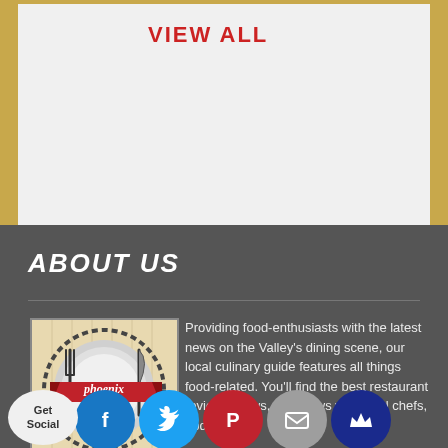VIEW ALL
ABOUT US
[Figure (logo): Phoenix Bites logo: circular badge with fork and knife, plate in center, red ribbon banner with 'phoenix bites' text, on tan/wood background]
Providing food-enthusiasts with the latest news on the Valley's dining scene, our local culinary guide features all things food-related. You'll find the best restaurant reviews, news, interviews with local chefs, updates on Phoenix's culinary events, recipes, giveaways for your kitchen, and the scoop on the 'latest and greatest' kitchen gadgets, tools and appliances.
Get Social